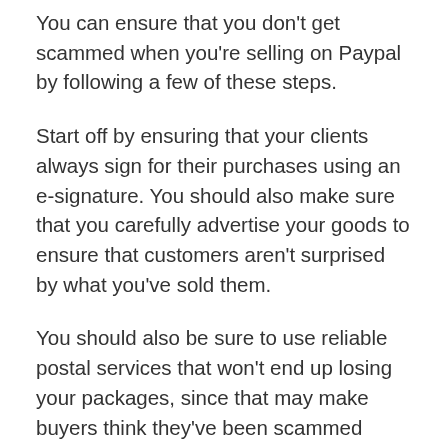You can ensure that you don't get scammed when you're selling on Paypal by following a few of these steps.
Start off by ensuring that your clients always sign for their purchases using an e-signature. You should also make sure that you carefully advertise your goods to ensure that customers aren't surprised by what you've sold them.
You should also be sure to use reliable postal services that won't end up losing your packages, since that may make buyers think they've been scammed when a product never arrives. Finally, you'll want to make sure that you're quick to